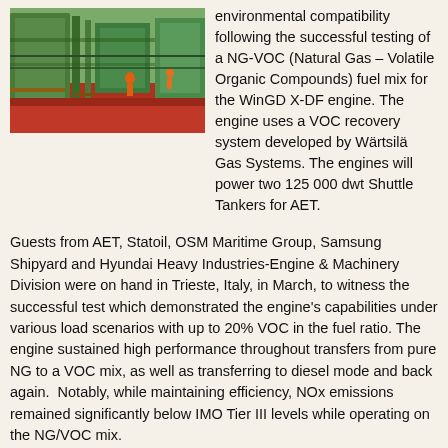[Figure (photo): Industrial engine or machinery in a large factory/test facility, with green structural equipment and workers in orange safety vests visible.]
environmental compatibility following the successful testing of a NG-VOC (Natural Gas – Volatile Organic Compounds) fuel mix for the WinGD X-DF engine. The engine uses a VOC recovery system developed by Wärtsilä Gas Systems. The engines will power two 125 000 dwt Shuttle Tankers for AET.
Guests from AET, Statoil, OSM Maritime Group, Samsung Shipyard and Hyundai Heavy Industries-Engine & Machinery Division were on hand in Trieste, Italy, in March, to witness the successful test which demonstrated the engine's capabilities under various load scenarios with up to 20% VOC in the fuel ratio. The engine sustained high performance throughout transfers from pure NG to a VOC mix, as well as transferring to diesel mode and back again.  Notably, while maintaining efficiency, NOx emissions remained significantly below IMO Tier III levels while operating on the NG/VOC mix.